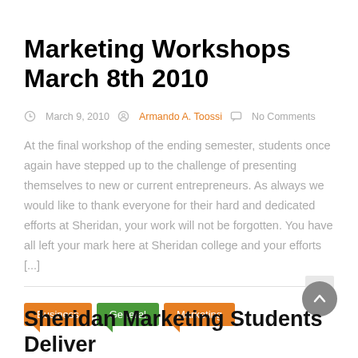Marketing Workshops March 8th 2010
March 9, 2010   Armando A. Toossi   No Comments
At the final workshop of the ending semester, students once again have stepped up to the challenge of presenting themselves to new or current entrepreneurs. As always we would like to thank everyone for their hard and dedicated efforts at Sheridan, your work will not be forgotten. You have all left your mark here at Sheridan college and your efforts [...]
Business   General   Marketing
Sheridan Marketing Students Deliver